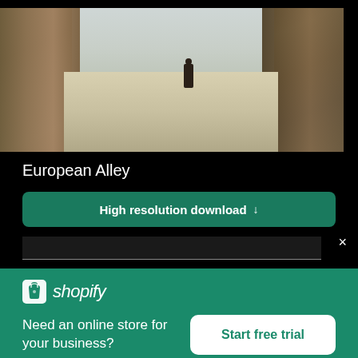[Figure (photo): A narrow European stone alley with tall stone walls on either side, a cobblestone path leading to an open area, with a silhouetted person visible in the distance]
European Alley
High resolution download ↓
[Figure (logo): Shopify logo with shopping bag icon and italic wordmark]
Need an online store for your business?
Start free trial